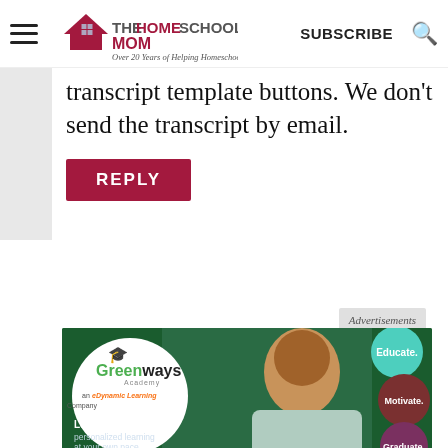THE HOMESCHOOL MOM - Over 20 Years of Helping Homeschoolers! | SUBSCRIBE
transcript template buttons. We don't send the transcript by email.
REPLY
Advertisements
[Figure (illustration): Greenways Academy advertisement banner. Green background with white circle logo on left showing Greenways Academy (an eDynamic Learning Company). Right side shows a smiling young woman. Three colored circles on far right: teal (Educate.), brown (Motivate.), purple (Graduate.). Bottom text: Learn from home with personalized learning at your own pace.]